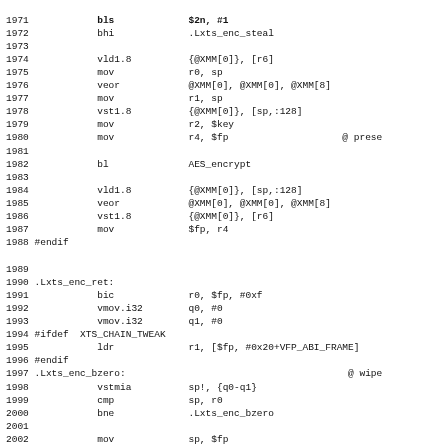Assembly source code listing lines 1971-2003 showing XTS encryption ARM assembly routines including vld1.8, veor, vst1.8, mov, bl, bic, vmov.i32, ldr, vstmia, cmp, bne instructions with labels .Lxts_enc_ret, .Lxts_enc_bzero and directives #endif, #ifdef XTS_CHAIN_TWEAK